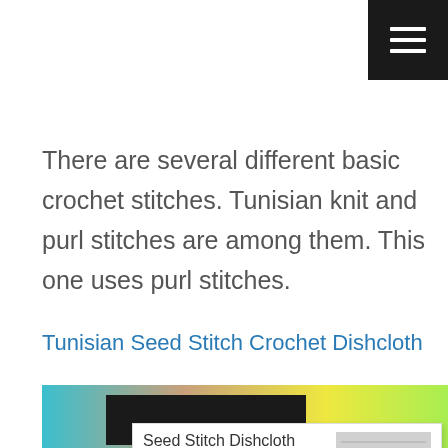≡
There are several different basic crochet stitches. Tunisian knit and purl stitches are among them. This one uses purl stitches.
Tunisian Seed Stitch Crochet Dishcloth
[Figure (photo): Photo of a Seed Stitch Dishcloth Tunisian crochet pattern card with a colorful gradient background and a thumbnail image of a crocheted dishcloth on the right.]